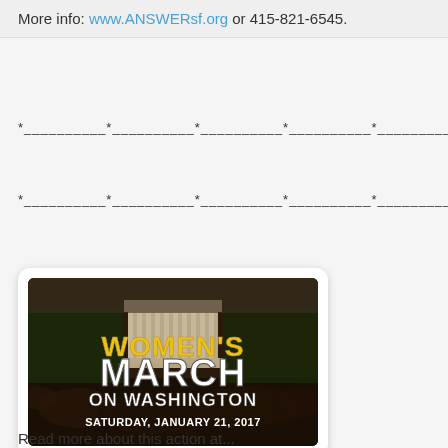More info: www.ANSWERsf.org or 415-821-6545.
*__________*__________*__________*__________*__________*__________*
*__________*__________*__________*__________*__________*__________*
[Figure (photo): Women's March on Washington – Saturday, January 21, 2017. Promotional image showing a large crowd in front of the Lincoln Memorial with bold yellow and white text overlay.]
Read more about this action at...